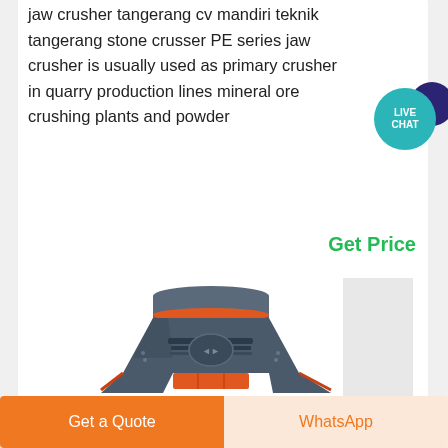jaw crusher tangerang cv mandiri teknik tangerang stone crusser PE series jaw crusher is usually used as primary crusher in quarry production lines mineral ore crushing plants and powder
Get Price
[Figure (photo): Industrial cone crusher machine, dark blue/grey color with orange accent trim, front view showing the main crushing chamber and discharge opening]
Get a Quote
WhatsApp